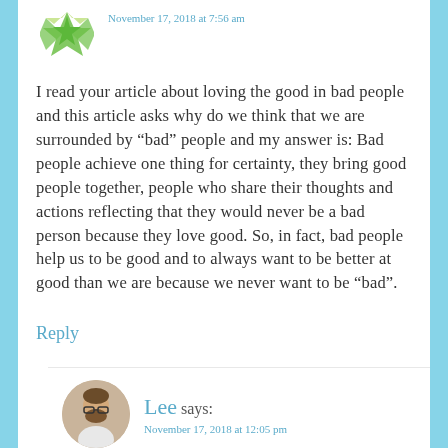November 17, 2018 at 7:56 am
I read your article about loving the good in bad people and this article asks why do we think that we are surrounded by “bad” people and my answer is: Bad people achieve one thing for certainty, they bring good people together, people who share their thoughts and actions reflecting that they would never be a bad person because they love good. So, in fact, bad people help us to be good and to always want to be better at good than we are because we never want to be “bad”.
Reply
Lee says:
November 17, 2018 at 12:05 pm